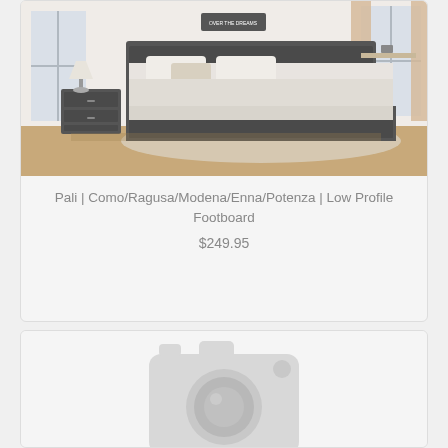[Figure (photo): Bedroom scene showing a dark grey bed with arched headboard and low profile footboard, white bedding, and a matching nightstand with lamp. Wooden floor, white walls, and curtained windows in background.]
Pali | Como/Ragusa/Modena/Enna/Potenza | Low Profile Footboard
$249.95
[Figure (photo): Placeholder image with a camera icon indicating no product photo available.]